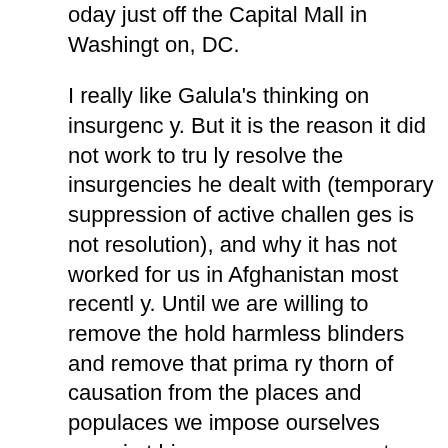oday just off the Capital Mall in Washington, DC.
I really like Galula's thinking on insurgency. But it is the reason it did not work to truly resolve the insurgencies he dealt with (temporary suppression of active challenges is not resolution), and why it has not worked for us in Afghanistan most recently. Until we are willing to remove the hold harmless blinders and remove that primary thorn of causation from the places and populaces we impose ourselves upon in this manner - we are not likely ever to achieve more than just some temporary degree of suppression of the symptoms of the problem.
In Afghanistan we say we "promote democracy," yet equally we are dedicated to the complete exclusion from participation in